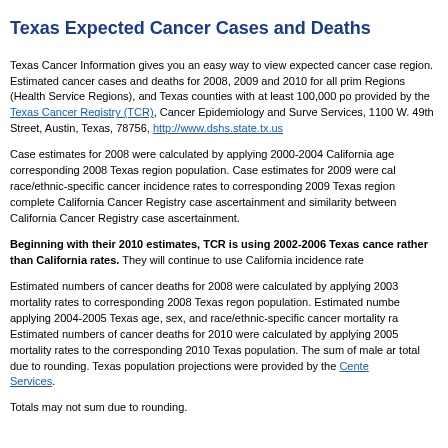Texas Expected Cancer Cases and Deaths
Texas Cancer Information gives you an easy way to view expected cancer cases and deaths by region. Estimated cancer cases and deaths for 2008, 2009 and 2010 for all primary cancer sites, Regions (Health Service Regions), and Texas counties with at least 100,000 population are provided by the Texas Cancer Registry (TCR), Cancer Epidemiology and Surveillance, Health Services, 1100 W. 49th Street, Austin, Texas, 78756, http://www.dshs.state.tx.us
Case estimates for 2008 were calculated by applying 2000-2004 California age, sex, and race/ethnic-specific cancer incidence rates to corresponding 2008 Texas region population. Case estimates for 2009 were calculated by applying California race/ethnic-specific cancer incidence rates to corresponding 2009 Texas region population, due to complete California Cancer Registry case ascertainment and similarity between Texas and California Cancer Registry case ascertainment.
Beginning with their 2010 estimates, TCR is using 2002-2006 Texas cancer incidence rates rather than California rates. They will continue to use California incidence rates for...
Estimated numbers of cancer deaths for 2008 were calculated by applying 2003-2004 Texas mortality rates to corresponding 2008 Texas regon population. Estimated numbers were calculated by applying 2004-2005 Texas age, sex, and race/ethnic-specific cancer mortality rates... Estimated numbers of cancer deaths for 2010 were calculated by applying 2005-2006 Texas mortality rates to the corresponding 2010 Texas population. The sum of male and female may not equal total due to rounding. Texas population projections were provided by the Center for Health Services.
Totals may not sum due to rounding.